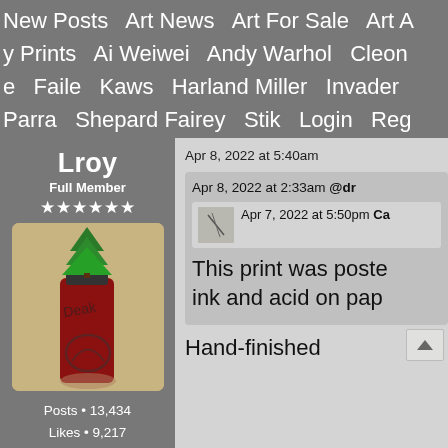New Posts  Art News  Art For Sale  Art A... y Prints  Ai Weiwei  Andy Warhol  Cleon... e  Faile  Kaws  Harland Miller  Invader  Parra  Shepard Fairey  Stik  Login  Reg...
Lroy
Full Member
★★★★★★
[Figure (photo): Profile avatar showing a red spray paint can with a green Christmas tree topper, signed with graffiti lettering]
Posts · 13,434
Likes · 9,217
Apr 8, 2022 at 5:40am
Apr 8, 2022 at 2:33am @dr...
Apr 7, 2022 at 5:50pm Ca...
This print was poste... ink and acid on pap...
Hand-finished...